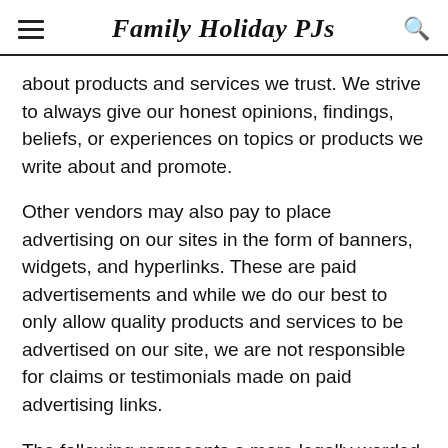Family Holiday PJs
about products and services we trust. We strive to always give our honest opinions, findings, beliefs, or experiences on topics or products we write about and promote.
Other vendors may also pay to place advertising on our sites in the form of banners, widgets, and hyperlinks. These are paid advertisements and while we do our best to only allow quality products and services to be advertised on our site, we are not responsible for claims or testimonials made on paid advertising links.
The following represents a more legally worded document but basically states the same information presented in the English Translation above.